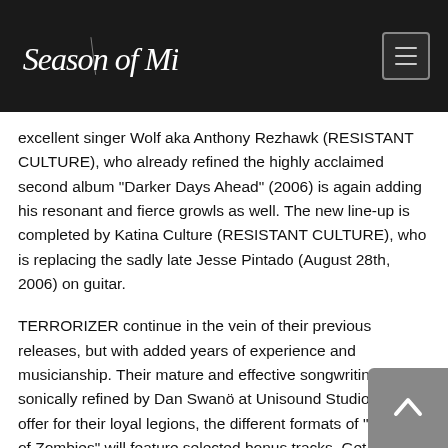Season of Mist
excellent singer Wolf aka Anthony Rezhawk (RESISTANT CULTURE), who already refined the highly acclaimed second album “Darker Days Ahead” (2006) is again adding his resonant and fierce growls as well. The new line-up is completed by Katina Culture (RESISTANT CULTURE), who is replacing the sadly late Jesse Pintado (August 28th, 2006) on guitar.
TERRORIZER continue in the vein of their previous releases, but with added years of experience and musicianship. Their mature and effective songwriting is sonically refined by Dan Swanö at Unisound Studios. As an offer for their loyal legions, the different formats of “Hordes of Zombies” will feature selected bonus tracks. Get ready: the godfathers of Grindcore are back from the undead!